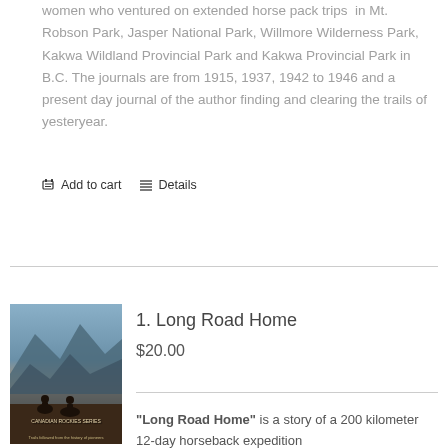women who ventured on extended horse pack trips in Mt. Robson Park, Jasper National Park, Willmore Wilderness Park, Kakwa Wildland Provincial Park and Kakwa Provincial Park in B.C. The journals are from 1915, 1937, 1942 to 1946 and a present day journal of the author finding and clearing the trails of yesteryear.
Add to cart   Details
[Figure (illustration): Book cover for 'Long Road Home' showing horseback riders in a mountain landscape. Text reads LONG ROAD HOME and CANADIAN ROCKIES SERIES at the bottom.]
1. Long Road Home
$20.00
"Long Road Home" is a story of a 200 kilometer 12-day horseback expedition